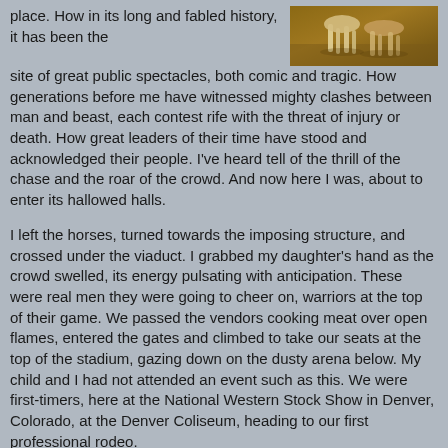[Figure (photo): A photograph showing horses on a dusty arena ground, viewed from above, in warm brown tones.]
place. How in its long and fabled history, it has been the site of great public spectacles, both comic and tragic. How generations before me have witnessed mighty clashes between man and beast, each contest rife with the threat of injury or death. How great leaders of their time have stood and acknowledged their people. I've heard tell of the thrill of the chase and the roar of the crowd. And now here I was, about to enter its hallowed halls.
I left the horses, turned towards the imposing structure, and crossed under the viaduct. I grabbed my daughter's hand as the crowd swelled, its energy pulsating with anticipation. These were real men they were going to cheer on, warriors at the top of their game. We passed the vendors cooking meat over open flames, entered the gates and climbed to take our seats at the top of the stadium, gazing down on the dusty arena below. My child and I had not attended an event such as this. We were first-timers, here at the National Western Stock Show in Denver, Colorado, at the Denver Coliseum, heading to our first professional rodeo.